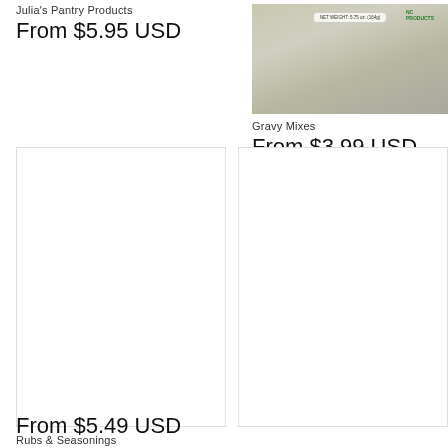Julia's Pantry Products
From $5.95 USD
[Figure (photo): Photo of a product package with label reading NET WEIGHT 5.75 oz (164g) and NC Products logo]
Gravy Mixes
From $3.99 USD
[Figure (photo): White/blank product card placeholder image for left column bottom]
[Figure (photo): White/blank product card placeholder image for right column bottom]
Rubs & Seasonings
From $5.49 USD